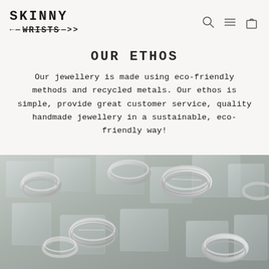SKINNY WRISTS — navigation header with logo and icons
Our Ethos
Our jewellery is made using eco-friendly methods and recycled metals. Our ethos is simple, provide great customer service, quality handmade jewellery in a sustainable, eco-friendly way!
[Figure (photo): Close-up photograph of multiple silver rings arranged on ice cubes, showing their spiral and coiled shapes with reflective surfaces.]